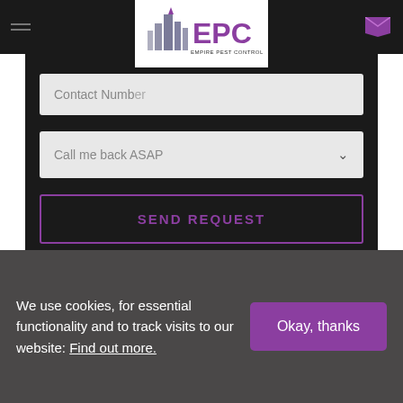[Figure (logo): Empire Pest Control Ltd logo with building/city skyline icon and purple EPC text]
Contact Number
Call me back ASAP
SEND REQUEST
We use cookies, for essential functionality and to track visits to our website: Find out more.
Okay, thanks